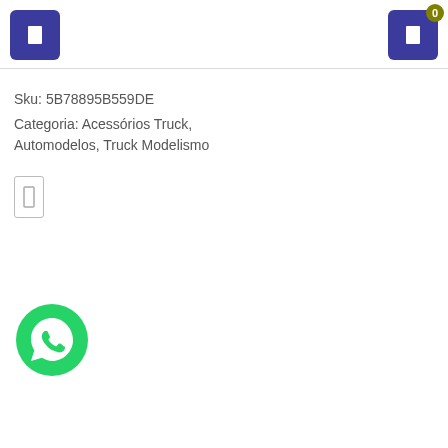[Figure (screenshot): Blue square button icon on left header]
[Figure (screenshot): Blue square button icon with olive badge showing '0' on right header]
Sku: 5B78895B559DE
Categoria: Acessórios Truck, Automodelos, Truck Modelismo
[Figure (illustration): Small outlined rectangle icon]
[Figure (logo): WhatsApp green circle icon with phone handset]